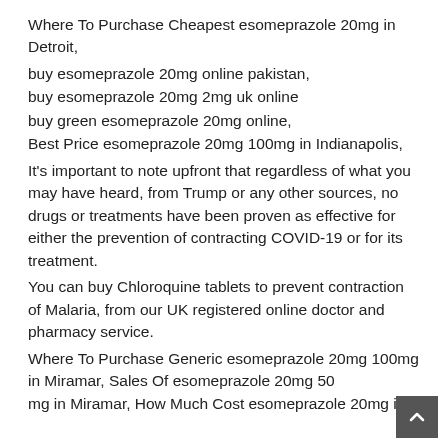Where To Purchase Cheapest esomeprazole 20mg in Detroit,
buy esomeprazole 20mg online pakistan,
buy esomeprazole 20mg 2mg uk online
buy green esomeprazole 20mg online,
Best Price esomeprazole 20mg 100mg in Indianapolis,
It's important to note upfront that regardless of what you may have heard, from Trump or any other sources, no drugs or treatments have been proven as effective for either the prevention of contracting COVID-19 or for its treatment.
You can buy Chloroquine tablets to prevent contraction of Malaria, from our UK registered online doctor and pharmacy service.
Where To Purchase Generic esomeprazole 20mg 100mg in Miramar, Sales Of esomeprazole 20mg 500 mg in Miramar, How Much Cost esomeprazole 20mg in